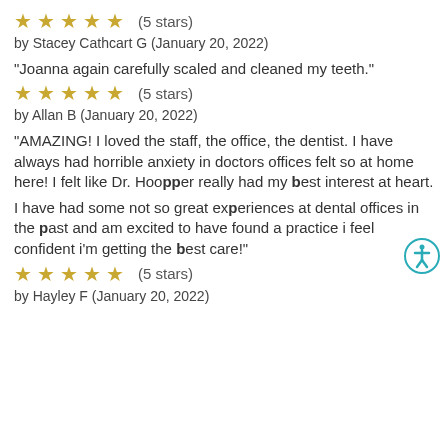[Figure (other): Five gold stars rating with text (5 stars)]
by Stacey Cathcart G (January 20, 2022)
"Joanna again carefully scaled and cleaned my teeth."
[Figure (other): Five gold stars rating with text (5 stars)]
by Allan B (January 20, 2022)
"AMAZING! I loved the staff, the office, the dentist. I have always had horrible anxiety in doctors offices felt so at home here! I felt like Dr. Hoopper really had my best interest at heart.
I have had some not so great experiences at dental offices in the past and am excited to have found a practice i feel confident i'm getting the best care!"
[Figure (other): Five gold stars rating with text (5 stars)]
by Hayley F (January 20, 2022)